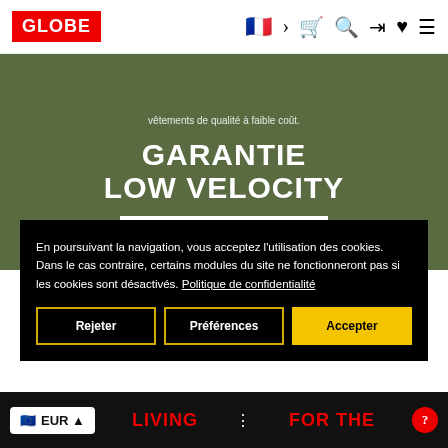[Figure (screenshot): Globe brand logo in red rectangle with white text]
GLOBE navigation bar with flag, cart, search, login, heart and menu icons
vêtements de qualité à faible coût.
GARANTIE LOW VELOCITY
EN SAVOIR PLUS
En poursuivant la navigation, vous acceptez l'utilisation des cookies. Dans le cas contraire, certains modules du site ne fonctionneront pas si les cookies sont désactivés. Politique de confidentialité
Rejeter
Préférences
Accepter
EUR ▲   LIVING   FOR THE